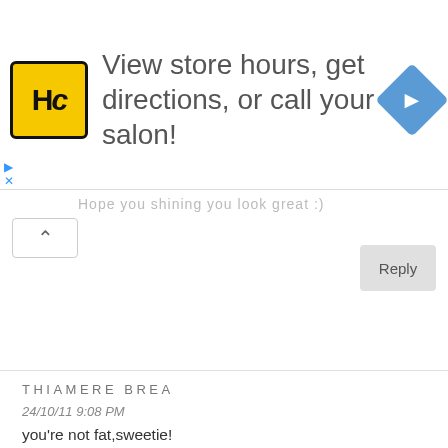[Figure (infographic): Advertisement banner: HC logo (yellow square with black HC text), text 'View store hours, get directions, or call your salon!', blue diamond navigation icon with right arrow]
Hope you shining you look great :)
Reply
THIAMERE BREA
24/10/11 9:08 PM
you're not fat,sweetie!
you're sexy!
there are girls who look fat & frumpy because they let themselves look like so.
nasa pagdadala lang yan & you totally show us how comfy & sexy